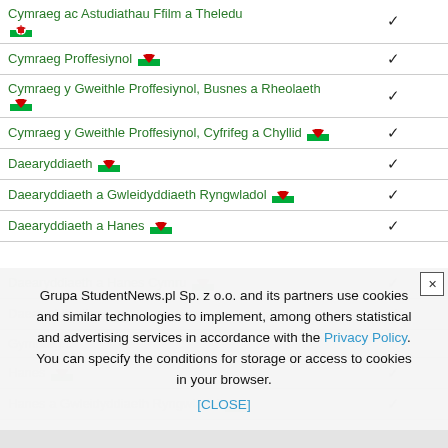| Course | Available |
| --- | --- |
| Cymraeg ac Astudiathau Ffilm a Theledu [flag] | ✓ |
| Cymraeg Proffesiynol [flag] | ✓ |
| Cymraeg y Gweithle Proffesiynol, Busnes a Rheolaeth [flag] | ✓ |
| Cymraeg y Gweithle Proffesiynol, Cyfrifeg a Chyllid [flag] | ✓ |
| Daearyddiaeth [flag] | ✓ |
| Daearyddiaeth a Gwleidyddiaeth Ryngwladol [flag] | ✓ |
| Daearyddiaeth a Hanes [flag] | ✓ |
| Daearyddiaeth a Hanes Cymru [flag] | ✓ |
| Daearyddiaeth... [flag] | ✓ |
| Gymraeg... | ✓ |
| Hanes [flag] | ✓ |
| Hanes a Gwleidyddiaeth Ryngwladol [flag] | ✓ |
Grupa StudentNews.pl Sp. z o.o. and its partners use cookies and similar technologies to implement, among others statistical and advertising services in accordance with the Privacy Policy. You can specify the conditions for storage or access to cookies in your browser. [CLOSE]